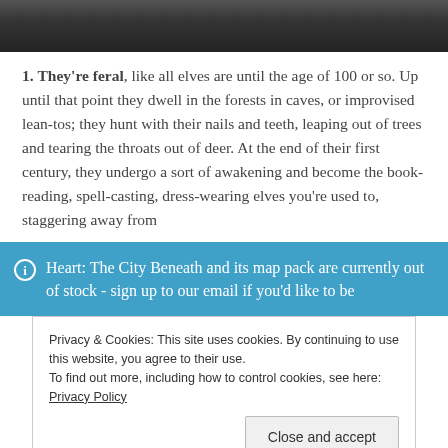[Figure (photo): Dark grainy image at top of page, appears to be a cropped photo with dark textures]
1. They're feral, like all elves are until the age of 100 or so. Up until that point they dwell in the forests in caves, or improvised lean-tos; they hunt with their nails and teeth, leaping out of trees and tearing the throats out of deer. At the end of their first century, they undergo a sort of awakening and become the book-reading, spell-casting, dress-wearing elves you're used to, staggering away from
Heart: The City Beneath and its map pack are currently out of stock - sign up to our email if you'd like to be
Privacy & Cookies: This site uses cookies. By continuing to use this website, you agree to their use. To find out more, including how to control cookies, see here: Privacy Policy
Close and accept